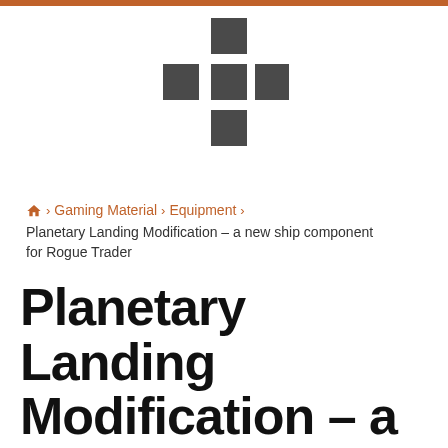[Figure (logo): Cross/plus shaped logo made of dark grey squares arranged in a cross pattern]
🏠 › Gaming Material › Equipment › Planetary Landing Modification – a new ship component for Rogue Trader
Planetary Landing Modification – a new ship component for